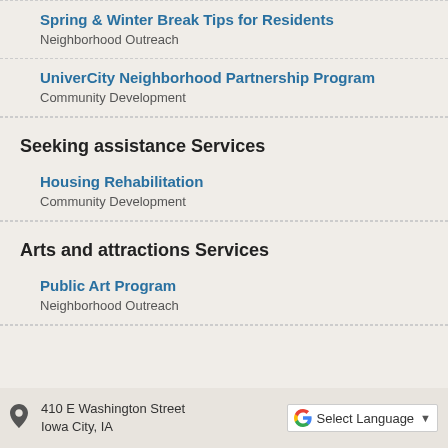Spring & Winter Break Tips for Residents
Neighborhood Outreach
UniverCity Neighborhood Partnership Program
Community Development
Seeking assistance Services
Housing Rehabilitation
Community Development
Arts and attractions Services
Public Art Program
Neighborhood Outreach
410 E Washington Street Iowa City, IA
Select Language